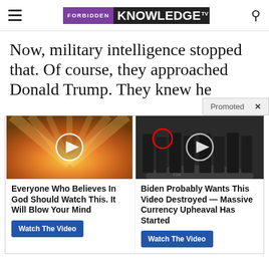FORBIDDEN KNOWLEDGE TV
Now, military intelligence stopped that. Of course, they approached Donald Trump. They knew he
[Figure (screenshot): Promoted ad banner with two video thumbnails. Left: cloudy sky with play button. Right: group of people in suits with CIA floor, play button, red circle highlight. Labels: 'Promoted X']
Everyone Who Believes In God Should Watch This. It Will Blow Your Mind
Watch The Video
Biden Probably Wants This Video Destroyed — Massive Currency Upheaval Has Started
Watch The Video